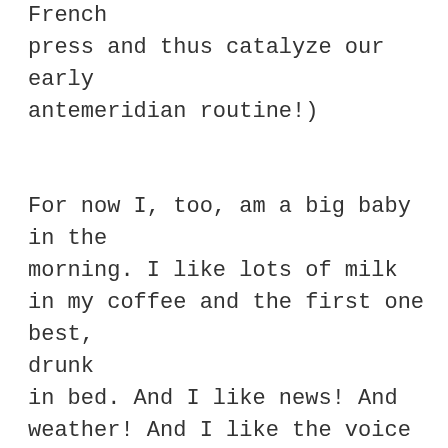French press and thus catalyze our early antemeridian routine!)

For now I, too, am a big baby in the morning. I like lots of milk in my coffee and the first one best, drunk in bed. And I like news! And weather! And I like the voice of an on-air “personality” whose politics I loathe.
I met the handsome oaf once in the flesh. In a bookstore of all places. He had a light heavyweight countenance.
I’m a sucker for pugs. Sometimes we are not the sum of our parts. Sometimes the